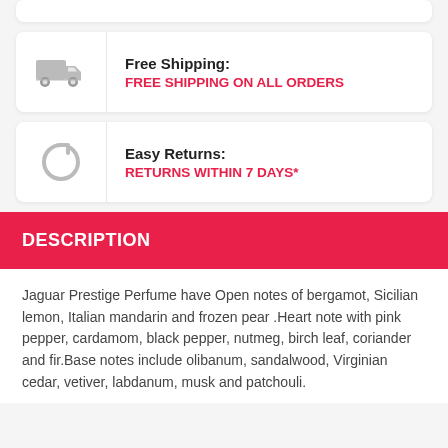Free Shipping: FREE SHIPPING ON ALL ORDERS
Easy Returns: RETURNS WITHIN 7 DAYS*
DESCRIPTION
Jaguar Prestige Perfume have Open notes of bergamot, Sicilian lemon, Italian mandarin and frozen pear .Heart note with pink pepper, cardamom, black pepper, nutmeg, birch leaf, coriander and fir.Base notes include olibanum, sandalwood, Virginian cedar, vetiver, labdanum, musk and patchouli.